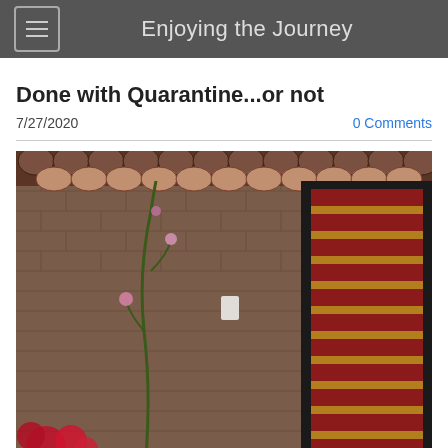Enjoying the Journey
Done with Quarantine...or not
7/27/2020
0 Comments
[Figure (photo): A brick wall with a red slatted door/gate framed in black metal, with climbing vines bearing pink flowers on the left side, terracotta roof tiles visible at the top, and red flowers visible at the bottom left.]